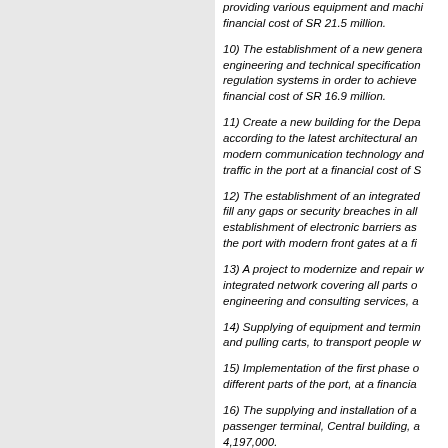providing various equipment and machinery at a financial cost of SR 21.5 million.
10) The establishment of a new genera... engineering and technical specifications... regulation systems in order to achieve... financial cost of SR 16.9 million.
11) Create a new building for the Depa... according to the latest architectural an... modern communication technology and... traffic in the port at a financial cost of S...
12) The establishment of an integrated... fill any gaps or security breaches in all... establishment of electronic barriers as... the port with modern front gates at a fi...
13) A project to modernize and repair w... integrated network covering all parts o... engineering and consulting services, a...
14) Supplying of equipment and termin... and pulling carts, to transport people w...
15) Implementation of the first phase o... different parts of the port, at a financia...
16) The supplying and installation of a... passenger terminal, Central building, a... 4,197,000.
17) Rehabilitation the port...